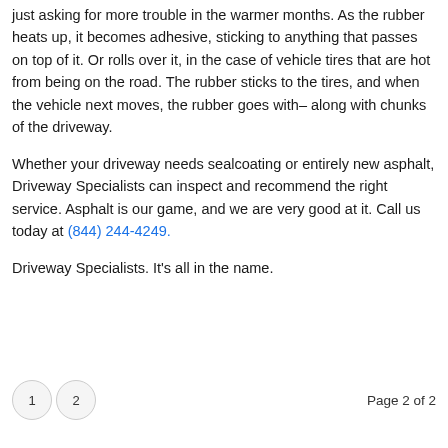just asking for more trouble in the warmer months. As the rubber heats up, it becomes adhesive, sticking to anything that passes on top of it. Or rolls over it, in the case of vehicle tires that are hot from being on the road. The rubber sticks to the tires, and when the vehicle next moves, the rubber goes with– along with chunks of the driveway.
Whether your driveway needs sealcoating or entirely new asphalt, Driveway Specialists can inspect and recommend the right service. Asphalt is our game, and we are very good at it. Call us today at (844) 244-4249.
Driveway Specialists. It's all in the name.
1  2    Page 2 of 2